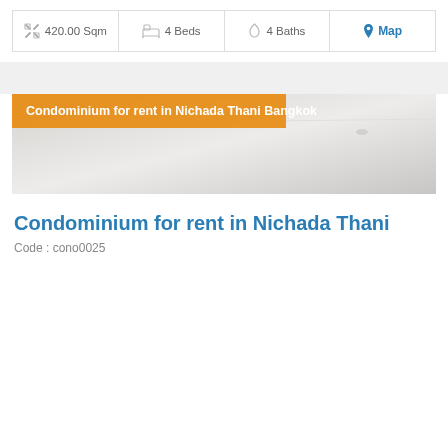| Size | Beds | Baths | Map |
| --- | --- | --- | --- |
| 420.00 Sqm | 4 Beds | 4 Baths | Map |
[Figure (photo): Interior room photo of a condominium with a white ceiling and light-colored walls, partially visible]
Condominium for rent in Nichada Thani Bangkok
Condominium for rent in Nichada Thani
Code : cono0025